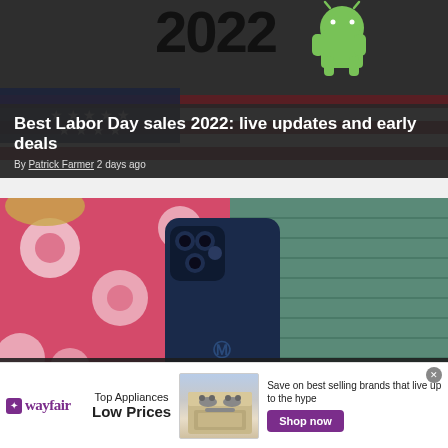[Figure (screenshot): Top article card with dark overlay on US flag background showing '2022' text and Android mascot. Article: 'Best Labor Day sales 2022: live updates and early deals' by Patrick Farmer, 2 days ago.]
Best Labor Day sales 2022: live updates and early deals
By Patrick Farmer 2 days ago
[Figure (photo): Photo of a dark blue Motorola phone held in a hand against floral fabric and teal basket background.]
These are the Motorola phones
[Figure (infographic): Wayfair advertisement banner: Top Appliances Low Prices. Image of stove. Save on best selling brands that live up to the hype. Shop now button.]